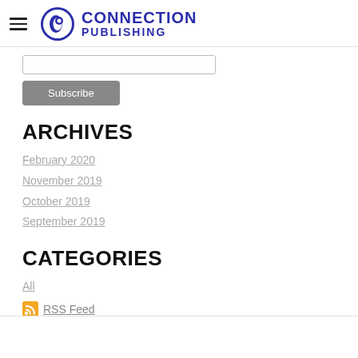CONNECTION PUBLISHING
[Figure (logo): Connection Publishing logo with CP monogram in blue circle and CONNECTION PUBLISHING text in blue]
ARCHIVES
February 2020
November 2019
October 2019
September 2019
CATEGORIES
All
RSS Feed